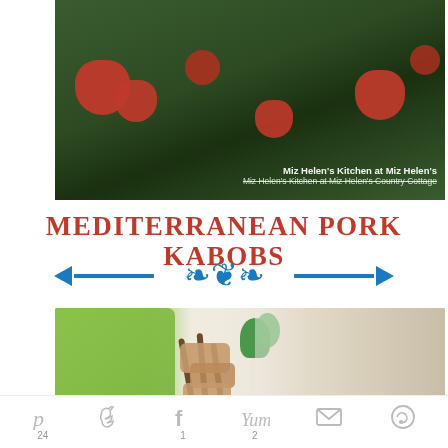[Figure (photo): Close-up photo of a green salad with strawberries and mixed greens, with watermark text 'Miz Helen's Kitchen at Miz Helen's Country Cottage']
MEDITERRANEAN PORK KABOBS
[Figure (photo): Photo of Mediterranean pork kabobs on a white plate with a green oven mitt and fresh herb garnish]
Social share bar with Pinterest (24), Twitter, Facebook (1), Yummly (2), Email, and more options icons